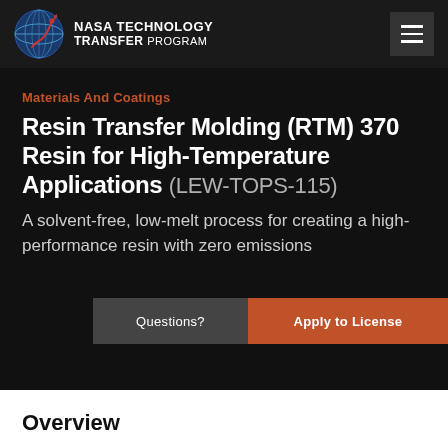NASA TECHNOLOGY TRANSFER PROGRAM
Materials And Coatings
Resin Transfer Molding (RTM) 370 Resin for High-Temperature Applications (LEW-TOPS-115)
A solvent-free, low-melt process for creating a high-performance resin with zero emissions
Questions?
Apply to License
Overview